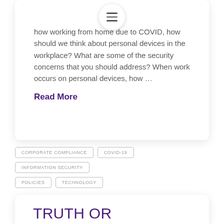how working from home due to COVID, how should we think about personal devices in the workplace? What are some of the security concerns that you should address? When work occurs on personal devices, how …
Read More
CORPORATE COMPLIANCE
COVID-19
INFORMATION SECURITY
POLICIES
TECHNOLOGY
TRUTH OR CONSEQUENCES? CHOOSE